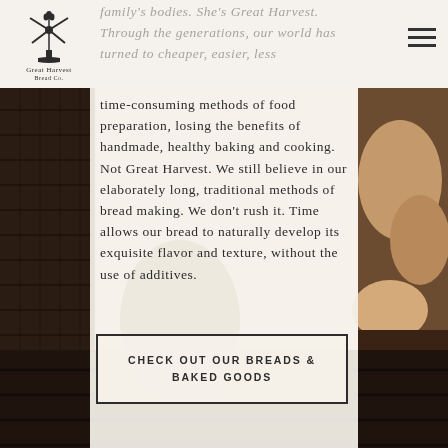[Figure (photo): Background photo of bread loaves in a dark woven basket, with Great Harvest Bread Co. logo in top left corner and hamburger menu icon top right. A semi-transparent cream overlay panel runs vertically through the center of the image.]
family's bodies. She's Great Harvest. Through the generations, our world has turned to cheaper, easier, less time-consuming methods of food preparation, losing the benefits of handmade, healthy baking and cooking. Not Great Harvest. We still believe in our elaborately long, traditional methods of bread making. We don't rush it. Time allows our bread to naturally develop its exquisite flavor and texture, without the use of additives.
CHECK OUT OUR BREADS & BAKED GOODS